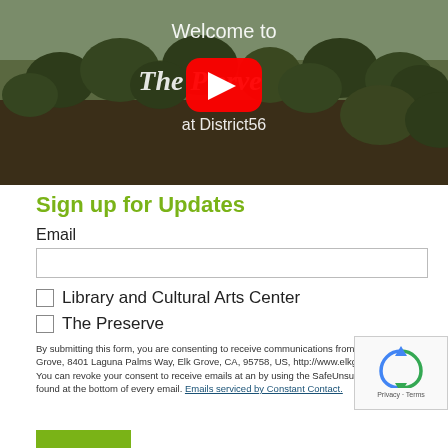[Figure (screenshot): YouTube video thumbnail showing aerial view of The Preserve at District56, with YouTube play button overlay and text 'Welcome to The Preserve at District56']
Sign up for Updates
Email
Library and Cultural Arts Center
The Preserve
By submitting this form, you are consenting to receive communications from: The Elk Grove, 8401 Laguna Palms Way, Elk Grove, CA, 95758, US, http://www.elkgrovecity.org. You can revoke your consent to receive emails at any by using the SafeUnsubscribe® link, found at the bottom of every email. Emails serviced by Constant Contact.